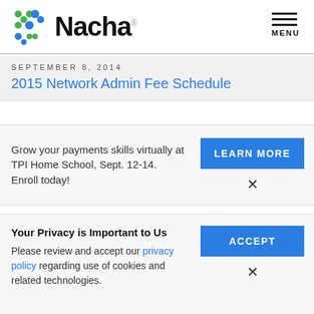[Figure (logo): Nacha logo with colorful dot pattern and bold Nacha text]
MENU
SEPTEMBER 8, 2014
2015 Network Admin Fee Schedule
Grow your payments skills virtually at TPI Home School, Sept. 12-14. Enroll today!
LEARN MORE
×
Your Privacy is Important to Us
Please review and accept our privacy policy regarding use of cookies and related technologies.
ACCEPT
×